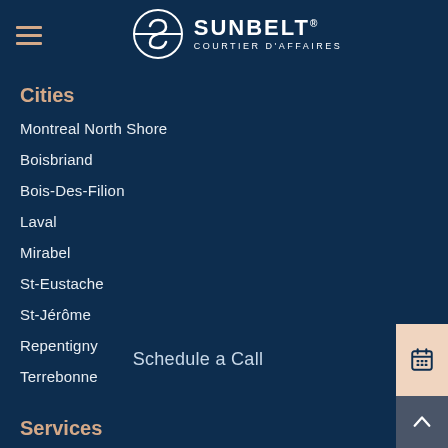[Figure (logo): Sunbelt Courtier d'Affaires logo with circular S icon]
Cities
Montreal North Shore
Boisbriand
Bois-Des-Filion
Laval
Mirabel
St-Eustache
St-Jérôme
Repentigny
Terrebonne
Schedule a Call
Services